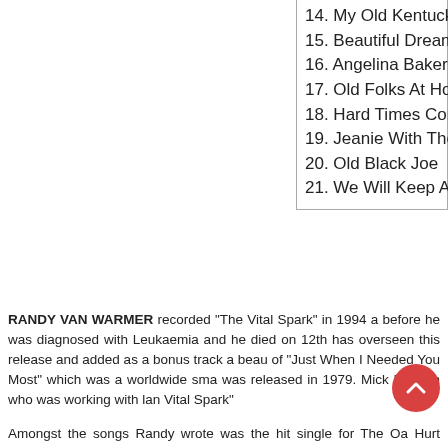14. My Old Kentucky Ho...
15. Beautiful Dreamer
16. Angelina Baker
17. Old Folks At Home
18. Hard Times Come Ag...
19. Jeanie With The Ligh...
20. Old Black Joe
21. We Will Keep A Brigh...
RANDY VAN WARMER recorded “The Vital Spark” in 1994 a... before he was diagnosed with Leukaemia and he died on 12th... has overseen this release and added as a bonus track a beau... of “Just When I Needed You Most” which was a worldwide sma... was released in 1979. Mick Ronson who was working with lan... Vital Spark”
Amongst the songs Randy wrote was the hit single for The Oa... Hurt Sometime” Other artists who have recorded his songs incl... Twitty, Kenny Rodgers Michael Johnson and Alabama. In his la... others. His final album “Sings Stephen Foster” was released...